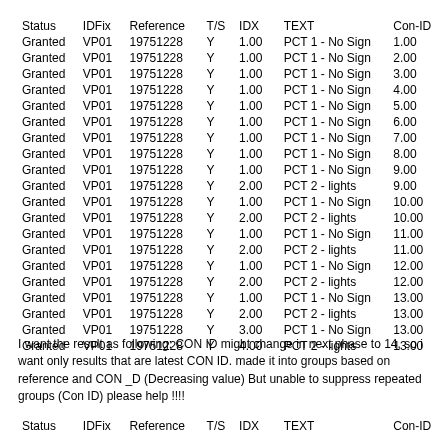| Status | IDFix | Reference | T/S | IDX | TEXT | Con-ID |
| --- | --- | --- | --- | --- | --- | --- |
| Granted | VP01 | 19751228 | Y | 1.00 | PCT 1 - No Sign | 1.00 |
| Granted | VP01 | 19751228 | Y | 1.00 | PCT 1 - No Sign | 2.00 |
| Granted | VP01 | 19751228 | Y | 1.00 | PCT 1 - No Sign | 3.00 |
| Granted | VP01 | 19751228 | Y | 1.00 | PCT 1 - No Sign | 4.00 |
| Granted | VP01 | 19751228 | Y | 1.00 | PCT 1 - No Sign | 5.00 |
| Granted | VP01 | 19751228 | Y | 1.00 | PCT 1 - No Sign | 6.00 |
| Granted | VP01 | 19751228 | Y | 1.00 | PCT 1 - No Sign | 7.00 |
| Granted | VP01 | 19751228 | Y | 1.00 | PCT 1 - No Sign | 8.00 |
| Granted | VP01 | 19751228 | Y | 1.00 | PCT 1 - No Sign | 9.00 |
| Granted | VP01 | 19751228 | Y | 2.00 | PCT 2 - lights | 9.00 |
| Granted | VP01 | 19751228 | Y | 1.00 | PCT 1 - No Sign | 10.00 |
| Granted | VP01 | 19751228 | Y | 2.00 | PCT 2 - lights | 10.00 |
| Granted | VP01 | 19751228 | Y | 1.00 | PCT 1 - No Sign | 11.00 |
| Granted | VP01 | 19751228 | Y | 2.00 | PCT 2 - lights | 11.00 |
| Granted | VP01 | 19751228 | Y | 1.00 | PCT 1 - No Sign | 12.00 |
| Granted | VP01 | 19751228 | Y | 2.00 | PCT 2 - lights | 12.00 |
| Granted | VP01 | 19751228 | Y | 1.00 | PCT 1 - No Sign | 13.00 |
| Granted | VP01 | 19751228 | Y | 2.00 | PCT 2 - lights | 13.00 |
| Granted | VP01 | 19751228 | Y | 3.00 | PCT 1 - No Sign | 13.00 |
| Granted | VP01 | 19751228 | Y | 4.00 | PCT 2 - lights | 13.00 |
I want the result as following: CON ID might change in next phase to 14, so i want only results that are latest CON ID. made it into groups based on reference and CON _D (Decreasing value) But unable to suppress repeated groups (Con ID) please help !!!!
| Status | IDFix | Reference | T/S | IDX | TEXT | Con-ID |
| --- | --- | --- | --- | --- | --- | --- |